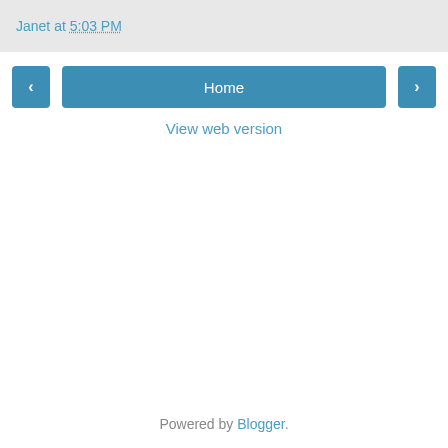Janet at 5:03 PM
< Home >
View web version
Powered by Blogger.